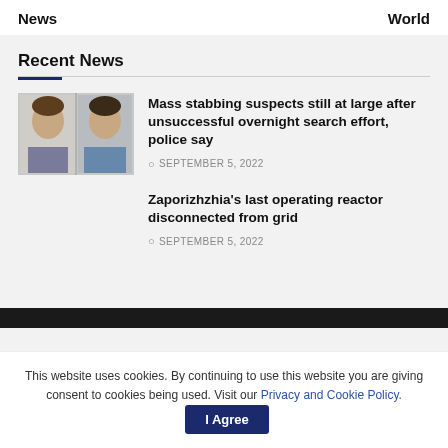News    World
Recent News
[Figure (photo): Two male suspects shown in side-by-side mugshot-style photos]
Mass stabbing suspects still at large after unsuccessful overnight search effort, police say
SEPTEMBER 5, 2022
Zaporizhzhia's last operating reactor disconnected from grid
SEPTEMBER 5, 2022
This website uses cookies. By continuing to use this website you are giving consent to cookies being used. Visit our Privacy and Cookie Policy.